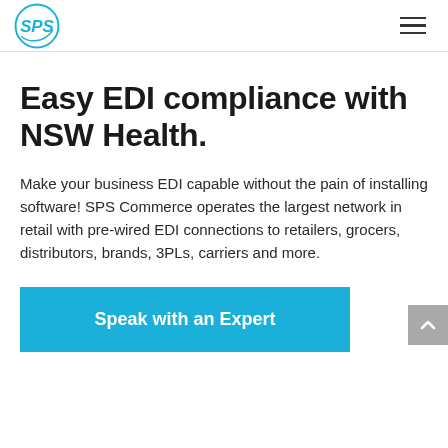SPS Commerce logo and navigation menu
Easy EDI compliance with NSW Health.
Make your business EDI capable without the pain of installing software! SPS Commerce operates the largest network in retail with pre-wired EDI connections to retailers, grocers, distributors, brands, 3PLs, carriers and more.
Speak with an Expert